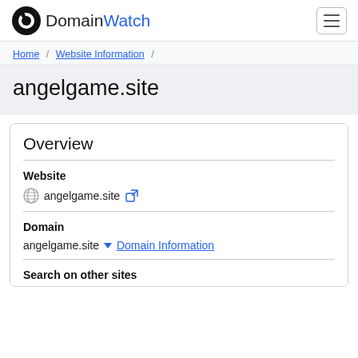DomainWatch
Home / Website Information /
angelgame.site
Overview
Website
angelgame.site
Domain
angelgame.site  Domain Information
Search on other sites